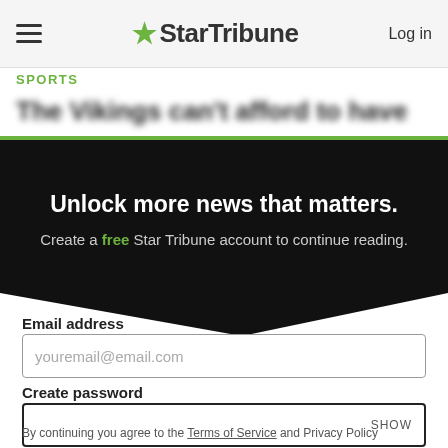StarTribune — Log in
SPORTS
The Vikings can't afford to have...
Unlock more news that matters.
Create a free Star Tribune account to continue reading.
Email address
youremail@email.com
Create password
SHOW
Create an account
By continuing you agree to the Terms of Service and Privacy Policy